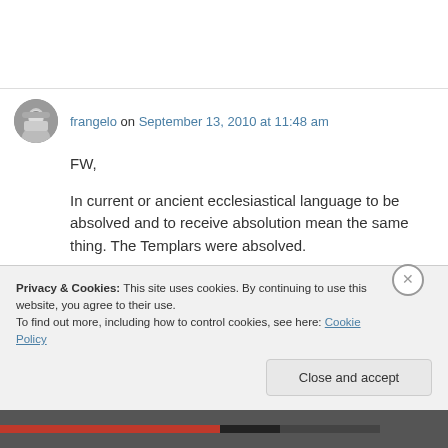frangelo on September 13, 2010 at 11:48 am
FW,
In current or ancient ecclesiastical language to be absolved and to receive absolution mean the same thing. The Templars were absolved.
I never said there were no problems in the
Privacy & Cookies: This site uses cookies. By continuing to use this website, you agree to their use.
To find out more, including how to control cookies, see here: Cookie Policy